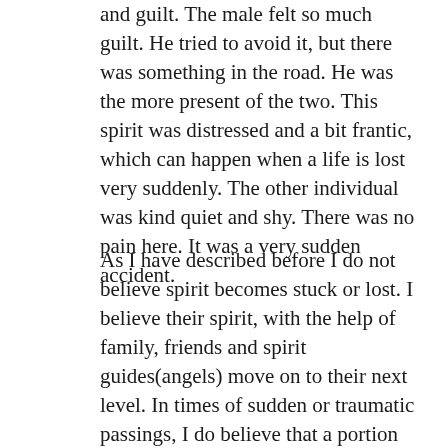and guilt. The male felt so much guilt. He tried to avoid it, but there was something in the road. He was the more present of the two. This spirit was distressed and a bit frantic, which can happen when a life is lost very suddenly. The other individual was kind quiet and shy. There was no pain here. It was a very sudden accident.
As I have described before I do not believe spirit becomes stuck or lost. I believe their spirit, with the help of family, friends and spirit guides(angels) move on to their next level. In times of sudden or traumatic passings, I do believe that a portion or fragment of their energetic experience can remain imprinted at the location. Also sometimes the free spirit portion may choose to come back to the area to try and understand what had happened to resolve their experience. Especially if there are unresolved